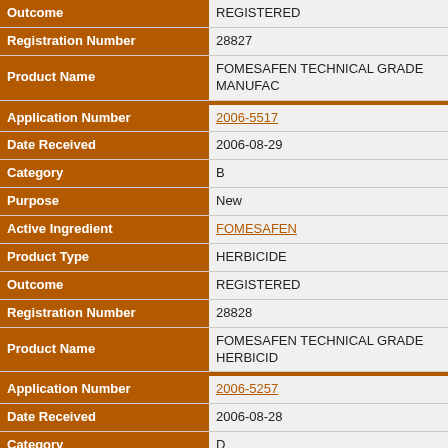| Field | Value |
| --- | --- |
| Outcome | REGISTERED |
| Registration Number | 28827 |
| Product Name | FOMESAFEN TECHNICAL GRADE MANUFAC... |
| separator |  |
| Application Number | 2006-5517 |
| Date Received | 2006-08-29 |
| Category | B |
| Purpose | New |
| Active Ingredient | FOMESAFEN |
| Product Type | HERBICIDE |
| Outcome | REGISTERED |
| Registration Number | 28828 |
| Product Name | FOMESAFEN TECHNICAL GRADE HERBICID... |
| separator |  |
| Application Number | 2006-5257 |
| Date Received | 2006-08-28 |
| Category | D |
| Purpose | New |
| Active Ingredient | LAMBDA-CYHALOTHRIN |
| Product Type | INSECTICIDE |
| Outcome | REGISTERED |
| Registration Number | 28499 |
| Product Name | SCIMITAR CS INSECTICIDE |
| separator |  |
| Application Number | 2006-5850 |